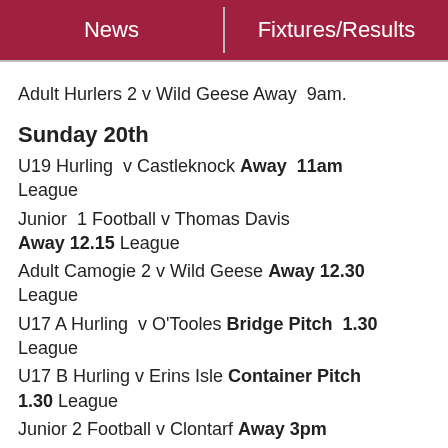News | Fixtures/Results
Adult Hurlers 2 v Wild Geese Away  9am.
Sunday 20th
U19 Hurling  v Castleknock Away  11am League
Junior  1 Football v Thomas Davis Away 12.15 League
Adult Camogie 2 v Wild Geese Away 12.30 League
U17 A Hurling  v O'Tooles Bridge Pitch  1.30 League
U17 B Hurling v Erins Isle Container Pitch 1.30 League
Junior 2 Football v Clontarf Away 3pm